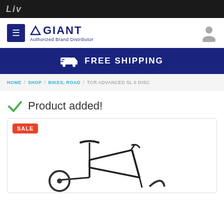Liv
[Figure (logo): Giant Authorized Brand Distributor logo with hamburger menu and user icon]
FREE SHIPPING
HOME / SHOP / BIKES, ROAD / TCR ADVANCED SL 0 DISC
Product added!
[Figure (photo): Road bike product card with SALE badge showing partial image of a black road bicycle (TCR Advanced SL 0 Disc) with saddle and handlebars visible]